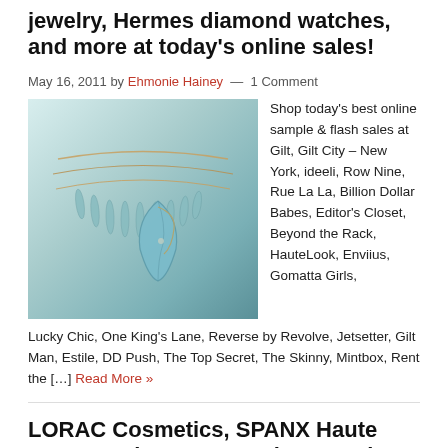jewelry, Hermes diamond watches, and more at today's online sales!
May 16, 2011 by Ehmonie Hainey — 1 Comment
[Figure (photo): Photo of layered turquoise/teal necklaces including a spike fringe necklace and a wire-wrapped stone pendant necklace on a light background.]
Shop today's best online sample & flash sales at Gilt, Gilt City – New York, ideeli, Row Nine, Rue La La, Billion Dollar Babes, Editor's Closet, Beyond the Rack, HauteLook, Enviius, Gomatta Girls, Lucky Chic, One King's Lane, Reverse by Revolve, Jetsetter, Gilt Man, Estile, DD Push, The Top Secret, The Skinny, Mintbox, Rent the […] Read More »
LORAC Cosmetics, SPANX Haute Contour Shapewear, Foley + Corinna handbags and more at today's top online sales